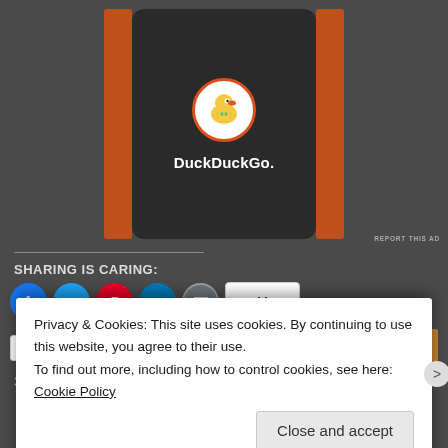[Figure (screenshot): DuckDuckGo advertisement showing DuckDuckGo logo on a dark phone screen with orange sidebar accents. Small 'REPORT THIS AD' text in bottom right.]
SHARING IS CARING:
[Figure (screenshot): Social sharing buttons: Facebook (blue circle), Twitter (blue circle), Pinterest (red circle), LinkedIn (blue circle), Email (gray circle), and a More button. Below is a Like button and a row of 10 blogger avatar thumbnails.]
39 bloggers like this.
Privacy & Cookies: This site uses cookies. By continuing to use this website, you agree to their use.
To find out more, including how to control cookies, see here: Cookie Policy
Close and accept